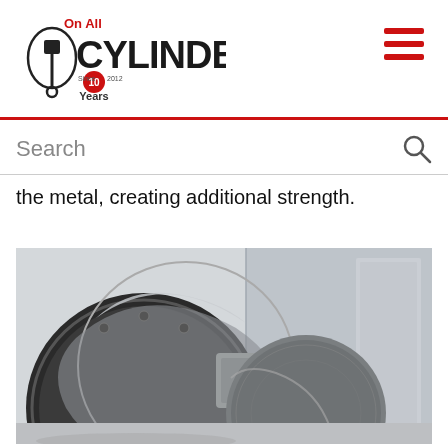On All Cylinders (logo with hamburger menu)
Search
the metal, creating additional strength.
[Figure (photo): CNC lathe machine with a large metal workpiece being machined. The chuck and cylindrical metal billet are visible, along with machining tooling, inside a metallic machine enclosure.]